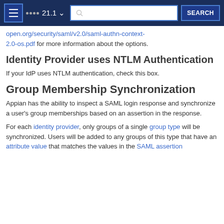21.1 [navigation bar with search]
open.org/security/saml/v2.0/saml-authn-context-2.0-os.pdf for more information about the options.
Identity Provider uses NTLM Authentication
If your IdP uses NTLM authentication, check this box.
Group Membership Synchronization
Appian has the ability to inspect a SAML login response and synchronize a user's group memberships based on an assertion in the response.
For each identity provider, only groups of a single group type will be synchronized. Users will be added to any groups of this type that have an attribute value that matches the values in the SAML assertion